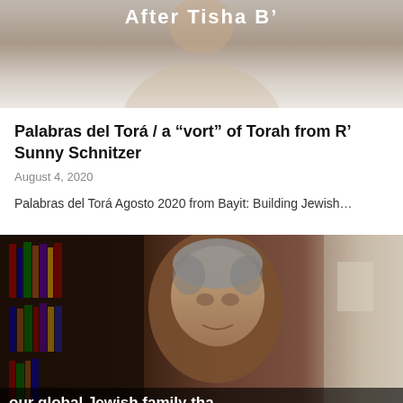[Figure (screenshot): Video thumbnail showing partial text 'After Tisha B'' on a white/light background with a person partially visible]
Palabras del Torá / a “vort” of Torah from R’ Sunny Schnitzer
August 4, 2020
Palabras del Torá Agosto 2020 from Bayit: Building Jewish…
[Figure (screenshot): Video screenshot of a man with gray hair speaking, with bookshelves in background and white subtitle text reading 'our global Jewish family tha feels ever more like a fami']